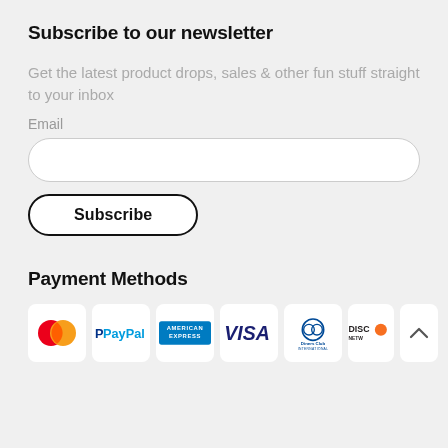Subscribe to our newsletter
Get the latest product drops, sales & other fun stuff straight to your inbox
Email
[Figure (screenshot): Email input field - rounded rectangle white input box]
Subscribe
Payment Methods
[Figure (illustration): Payment method logos: MasterCard, PayPal, American Express, Visa, Diners Club International, Discover Network, and a scroll arrow button]